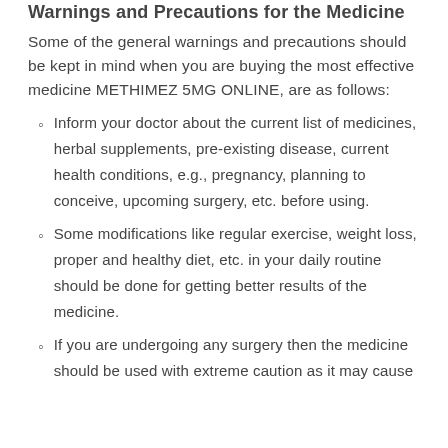Warnings and Precautions for the Medicine
Some of the general warnings and precautions should be kept in mind when you are buying the most effective medicine METHIMEZ 5MG ONLINE, are as follows:
Inform your doctor about the current list of medicines, herbal supplements, pre-existing disease, current health conditions, e.g., pregnancy, planning to conceive, upcoming surgery, etc. before using.
Some modifications like regular exercise, weight loss, proper and healthy diet, etc. in your daily routine should be done for getting better results of the medicine.
If you are undergoing any surgery then the medicine should be used with extreme caution as it may cause